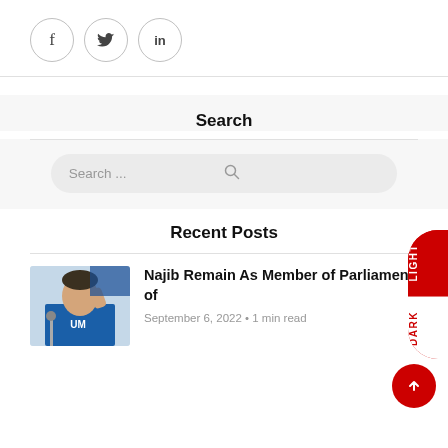[Figure (infographic): Three social sharing icon circles: Facebook (f), Twitter (bird/t), LinkedIn (in)]
Search
[Figure (infographic): Search input bar with placeholder text 'Search ...' and a magnifying glass icon]
[Figure (infographic): LIGHT/DARK mode toggle pill on the right edge]
Recent Posts
[Figure (photo): Photo of Najib in blue shirt speaking at a podium with raised hand]
Najib Remain As Member of Parliament of
September 6, 2022 • 1 min read